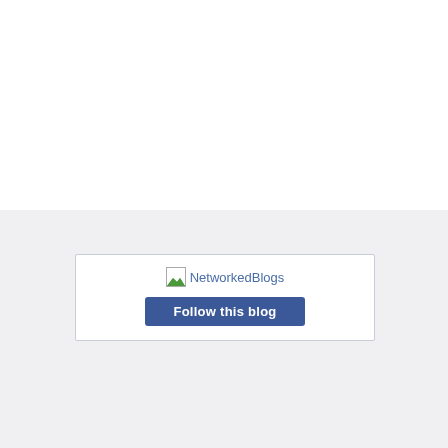[Figure (screenshot): A NetworkedBlogs widget box with a broken image icon and 'NetworkedBlogs' text logo, plus a blue 'Follow this blog' button below it, on a light gray background.]